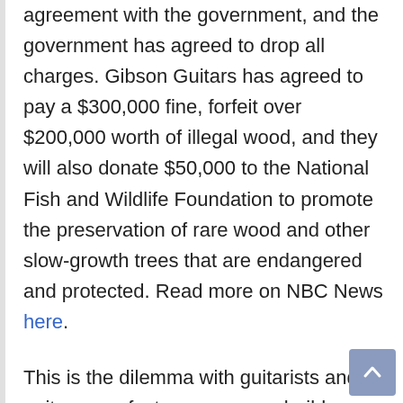agreement with the government, and the government has agreed to drop all charges. Gibson Guitars has agreed to pay a $300,000 fine, forfeit over $200,000 worth of illegal wood, and they will also donate $50,000 to the National Fish and Wildlife Foundation to promote the preservation of rare wood and other slow-growth trees that are endangered and protected. Read more on NBC News here.
This is the dilemma with guitarists and guitar manufacturers, can we build guitars in a sustainable way? Is slow-growth wood truly the ONLY tone wood we can use? JTMP supports efforts in the guitar world using synthetic and quick-replenishing wood to help solve this crisis, like Martin's OMC Cherry that uses